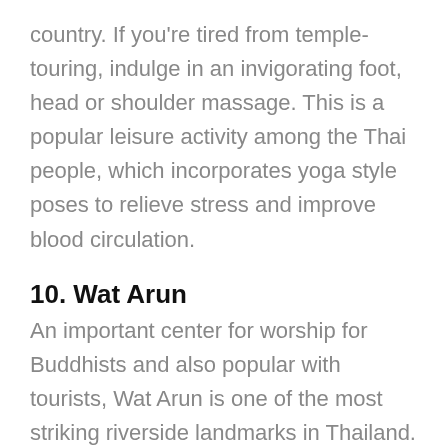country. If you're tired from temple-touring, indulge in an invigorating foot, head or shoulder massage. This is a popular leisure activity among the Thai people, which incorporates yoga style poses to relieve stress and improve blood circulation.
10. Wat Arun
An important center for worship for Buddhists and also popular with tourists, Wat Arun is one of the most striking riverside landmarks in Thailand. The beautiful architecture and fine craftsmanship of Wat
[Figure (photo): Advertisement banner showing a cargo airplane being loaded on a tarmac with colorful freight containers, with a dark overlay on the right side reading 'WITHOUT REGARD TO POLITICS, RELIGION, OR WEALTH TO HAL']